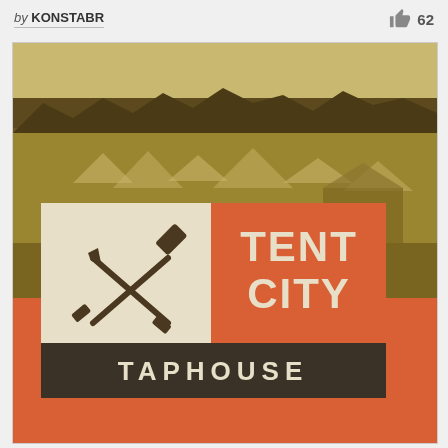by KONSTABR  👍 62
[Figure (logo): Tent City Taphouse logo overlaid on a sepia-toned historical photograph of a tent city settlement with forest in background. Logo features crossed nail and hammer tools on cream background left panel, 'TENT CITY' text on orange-red right panel, and 'TAPHOUSE' text on dark brown banner below. Bottom portion of image is solid orange-red color.]